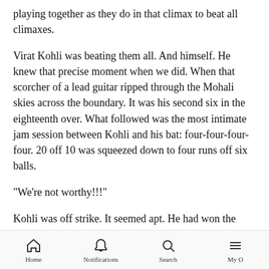playing together as they do in that climax to beat all climaxes.
Virat Kohli was beating them all. And himself. He knew that precise moment when we did. When that scorcher of a lead guitar ripped through the Mohali skies across the boundary. It was his second six in the eighteenth over. What followed was the most intimate jam session between Kohli and his bat: four-four-four-four. 20 off 10 was squeezed down to four runs off six balls.
"We're not worthy!!!"
Kohli was off strike. It seemed apt. He had won the match, scoring the winning runs would've denied us a
Home   Notifications   Search   My O